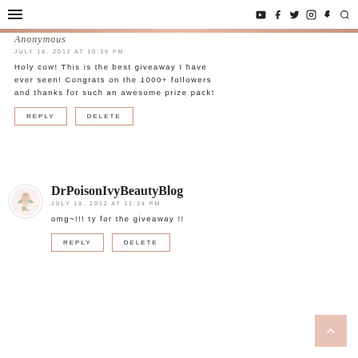Menu | Social icons: YouTube, Facebook, Twitter, Instagram, Snapchat, Search
Anonymous
JULY 18, 2012 AT 10:39 PM
Holy cow! This is the best giveaway I have ever seen! Congrats on the 1000+ followers and thanks for such an awesome prize pack!
REPLY
DELETE
DrPoisonIvyBeautyBlog
JULY 18, 2012 AT 11:24 PM
omg~!!! ty for the giveaway !!
REPLY
DELETE